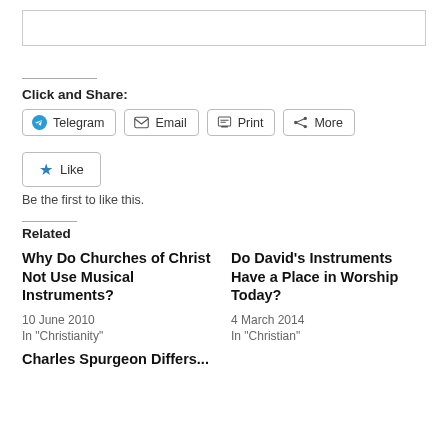[Figure (other): Top gray-bordered box (image placeholder)]
Click and Share:
Telegram | Email | Print | More (share buttons)
Like
Be the first to like this.
Related
Why Do Churches of Christ Not Use Musical Instruments?
10 June 2010
In "Christianity"
Do David's Instruments Have a Place in Worship Today?
4 March 2014
In "Christian"
Charles Spurgeon Differs...